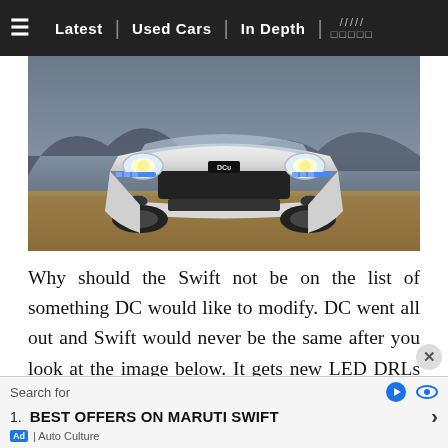≡  Latest | Used Cars | In Depth | /////  □□□□□
[Figure (photo): Front view of a white DC-modified Maruti Swift with LED DRLs, new grille, and air dam, parked on a hillside with mountains in the background.]
Why should the Swift not be on the list of something DC would like to modify. DC went all out and Swift would never be the same after you look at the image below. It gets new LED DRLs that completely change the front end. The front also gets an air dam and a new grille. Towards the rear, the bumper has
Search for
1. BEST OFFERS ON MARUTI SWIFT ›
Ad | Auto Culture